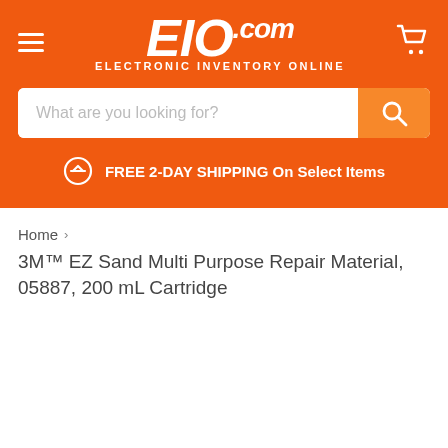EIO.com Electronic Inventory Online — navigation header with search bar and FREE 2-DAY SHIPPING On Select Items
Home > 3M™ EZ Sand Multi Purpose Repair Material, 05887, 200 mL Cartridge